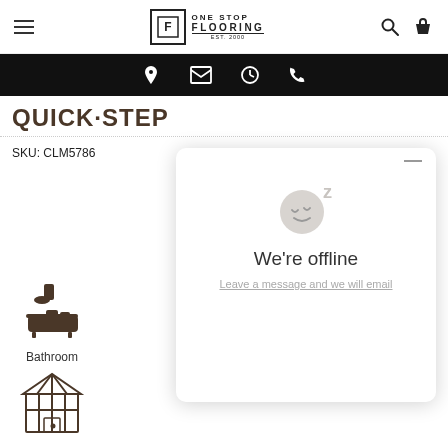One Stop Flooring — site header with hamburger menu, logo, search and cart icons
[Figure (screenshot): Black navigation bar with location pin, email, clock, and phone icons]
QUICK·STEP
SKU: CLM5786
[Figure (illustration): We're offline chat widget with sleeping face emoji and text: We're offline / Leave a message and we will email]
[Figure (illustration): Bathroom icon — dark brown bathtub with shower head]
Bathroom
[Figure (illustration): Conservatory / greenhouse building icon]